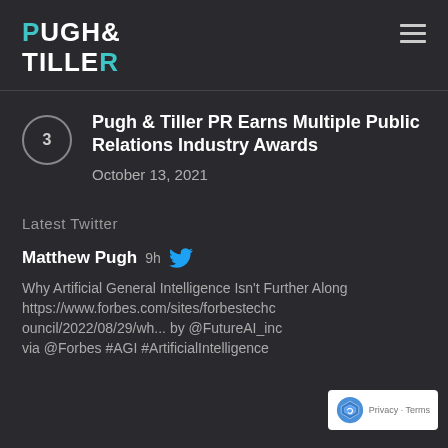PUGH & TILLER
Pugh & Tiller PR Earns Multiple Public Relations Industry Awards
October 13, 2021
Latest Twitter
Matthew Pugh 9h
Why Artificial General Intelligence Isn't Further Along https://www.forbes.com/sites/forbestechcouncil/2022/08/29/wh... by @FutureAI_inc via @Forbes #AGI #ArtificialIntelligence